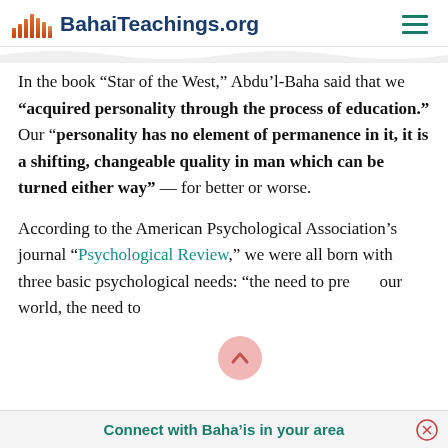BahaiTeachings.org
In the book “Star of the West,” Abdu’l-Baha said that we “acquired personality through the process of education.” Our “personality has no element of permanence in it, it is a shifting, changeable quality in man which can be turned either way” — for better or worse.
According to the American Psychological Association’s journal “Psychological Review,” we were all born with three basic psychological needs: “the need to pre… our world, the need to
Connect with Baha’is in your area